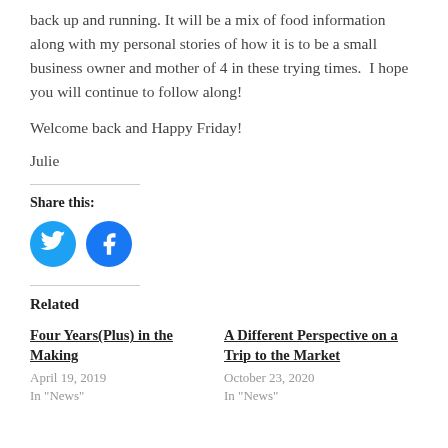back up and running. It will be a mix of food information along with my personal stories of how it is to be a small business owner and mother of 4 in these trying times.  I hope you will continue to follow along!
Welcome back and Happy Friday!
Julie
Share this:
[Figure (logo): Twitter and Facebook social share icon buttons (circular blue icons)]
Related
Four Years(Plus) in the Making
April 19, 2019
In "News"
A Different Perspective on a Trip to the Market
October 23, 2020
In "News"